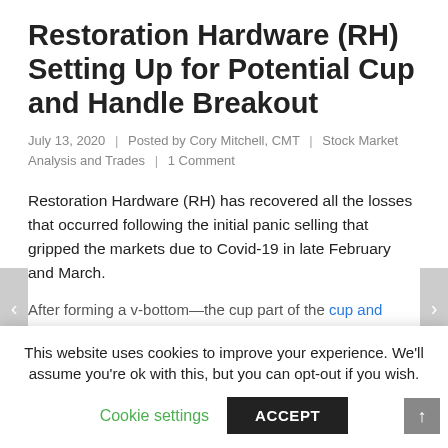Restoration Hardware (RH) Setting Up for Potential Cup and Handle Breakout
July 13, 2020  |  Posted by Cory Mitchell, CMT  |  Stock Market Analysis and Trades  |  1 Comment
Restoration Hardware (RH) has recovered all the losses that occurred following the initial panic selling that gripped the markets due to Covid-19 in late February and March.
After forming a v-bottom—the cup part of the cup and
This website uses cookies to improve your experience. We'll assume you're ok with this, but you can opt-out if you wish.